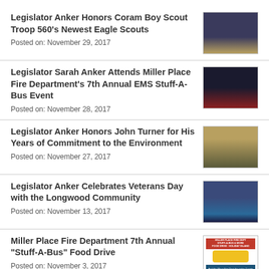Legislator Anker Honors Coram Boy Scout Troop 560’s Newest Eagle Scouts
Posted on: November 29, 2017
Legislator Sarah Anker Attends Miller Place Fire Department’s 7th Annual EMS Stuff-A-Bus Event
Posted on: November 28, 2017
Legislator Anker Honors John Turner for His Years of Commitment to the Environment
Posted on: November 27, 2017
Legislator Anker Celebrates Veterans Day with the Longwood Community
Posted on: November 13, 2017
Miller Place Fire Department 7th Annual “Stuff-A-Bus” Food Drive
Posted on: November 3, 2017